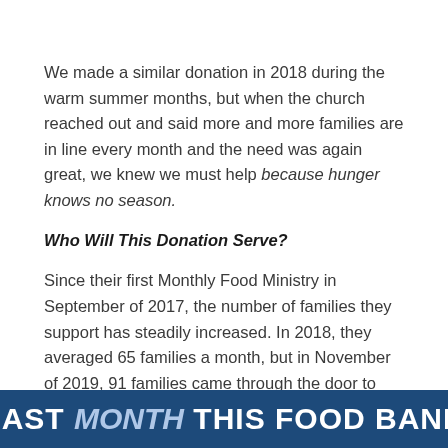We made a similar donation in 2018 during the warm summer months, but when the church reached out and said more and more families are in line every month and the need was again great, we knew we must help because hunger knows no season.
Who Will This Donation Serve?
Since their first Monthly Food Ministry in September of 2017, the number of families they support has steadily increased. In 2018, they averaged 65 families a month, but in November of 2019, 91 families came through the door to receive assistance.
[Figure (other): Dark blue banner with large white bold text reading 'LAST MONTH THIS FOOD BANK' with 'MONTH' styled in a lighter italic font]